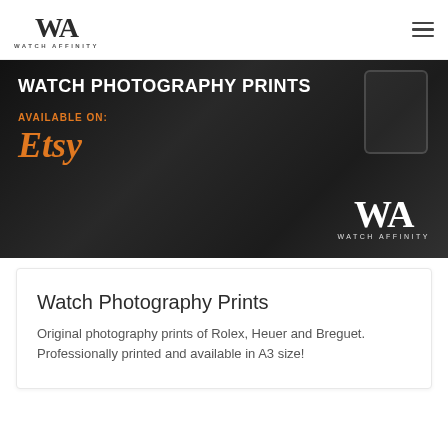WA WATCH AFFINITY
[Figure (screenshot): Dark banner image with watch photography prints advertisement. Shows 'WATCH PHOTOGRAPHY PRINTS' heading, 'AVAILABLE ON:' label, 'Etsy' in orange text, and Watch Affinity WA logo on the right side.]
Watch Photography Prints
Original photography prints of Rolex, Heuer and Breguet. Professionally printed and available in A3 size!